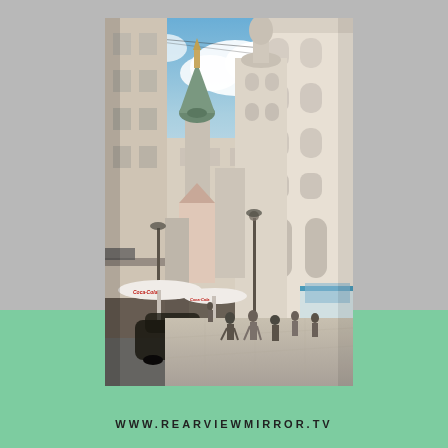[Figure (photo): Street scene in a Central European city (likely Austria/Hungary) showing a pedestrian street with historic baroque buildings, church towers with green domed spires, outdoor cafe seating with Coca-Cola umbrellas, a street lamp, and people walking. Blue sky with white clouds above.]
WWW.REARVIEWMIRROR.TV